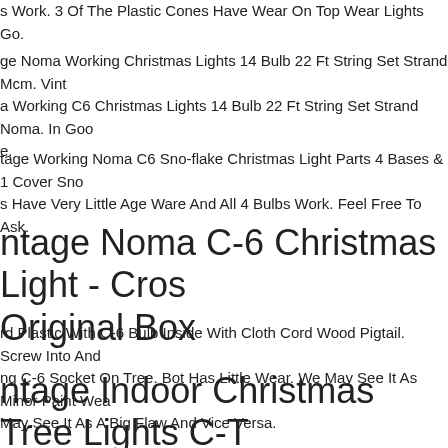s Work. 3 Of The Plastic Cones Have Wear On Top Wear Lights Go.
ge Noma Working Christmas Lights 14 Bulb 22 Ft String Set Strand Mcm. Vint a Working C6 Christmas Lights 14 Bulb 22 Ft String Set Strand Noma. In Goo e.
tage Working Noma C6 Sno-flake Christmas Light Parts 4 Bases & 1 Cover Sno s Have Very Little Age Ware And All 4 Bulbs Work. Feel Free To Ask.
ntage Noma C-6 Christmas Light - Cros Original Box
rd Plastic With C-6 Bulb Inside With Cloth Cord Wood Pigtail. Screw Into And ng C-6 Socket On Tree. Bot Has Little Wear. We May See It As Minor Paint Wea May See It As A Big Flaw And Vice Versa.
ntage Indoor Christmas Tree Lights C-T Bulbs 39 Ft Noma 8e6